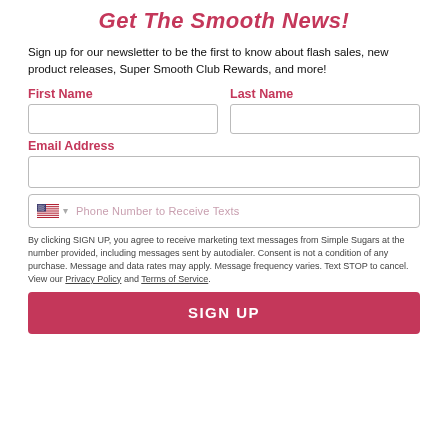Get The Smooth News!
Sign up for our newsletter to be the first to know about flash sales, new product releases, Super Smooth Club Rewards, and more!
First Name
Last Name
Email Address
Phone Number to Receive Texts
By clicking SIGN UP, you agree to receive marketing text messages from Simple Sugars at the number provided, including messages sent by autodialer. Consent is not a condition of any purchase. Message and data rates may apply. Message frequency varies. Text STOP to cancel. View our Privacy Policy and Terms of Service.
SIGN UP